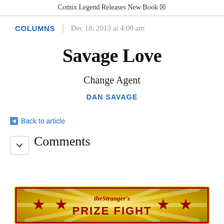Comix Legend Releases New Book ☒
COLUMNS | Dec 18, 2013 at 4:00 am
Savage Love
Change Agent
DAN SAVAGE
← Back to article
Comments
[Figure (other): The Stranger's Prize Fight advertisement banner with gold/yellow starburst background, red stars, and bold red text reading 'PRIZE FIGHT']